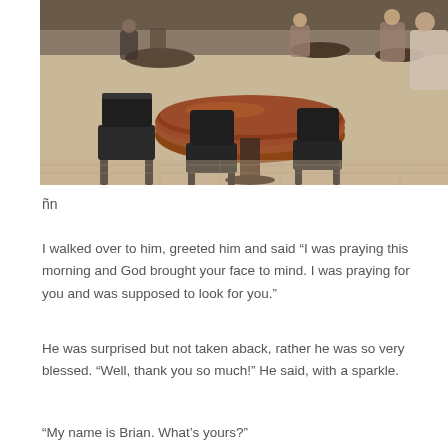[Figure (photo): Interior of a cafe or coffee shop showing a large round wooden table with black modern chairs in the foreground, and more tables and seated patrons visible in the background. The floor is tiled in a warm tone.]
ñn
I walked over to him, greeted him and said “I was praying this morning and God brought your face to mind. I was praying for you and was supposed to look for you.”
He was surprised but not taken aback, rather he was so very blessed. “Well, thank you so much!” He said, with a sparkle.
“My name is Brian. What’s yours?”